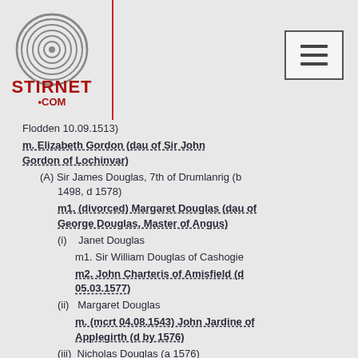[Figure (logo): Stirnet.com fingerprint logo with text STIRNET .COM in dark red]
Flodden 10.09.1513)
m. Elizabeth Gordon (dau of Sir John Gordon of Lochinvar)
(A) Sir James Douglas, 7th of Drumlanrig (b 1498, d 1578)
m1. (divorced) Margaret Douglas (dau of George Douglas, Master of Angus)
(i) Janet Douglas
m1. Sir William Douglas of Cashogie
m2. John Charteris of Amisfield (d 05.03.1577)
(ii) Margaret Douglas
m. (mcrt 04.08.1543) John Jardine of Applegirth (d by 1576)
(iii) Nicholas Douglas (a 1576)
m. (c09.1550) James Johnstone of Johnstone
m2. Christian Montgomery (d 09.09.1575, dau of John Montgomery, Master of Eglinton)